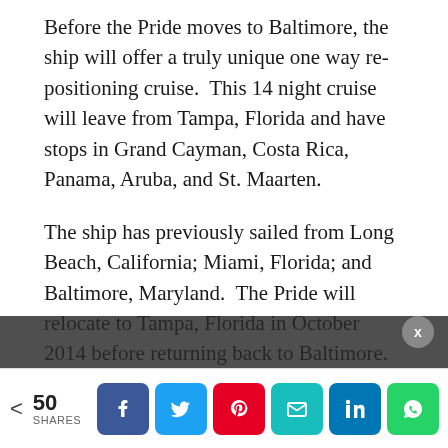Before the Pride moves to Baltimore, the ship will offer a truly unique one way re-positioning cruise.  This 14 night cruise will leave from Tampa, Florida and have stops in Grand Cayman, Costa Rica, Panama, Aruba, and St. Maarten.
The ship has previously sailed from Long Beach, California; Miami, Florida; and Baltimore, Maryland.  The Pride will relocate to Tampa, Florida in October 2014 before returning back to Baltimore.
The Carnival Pride is a 2,100 passenger ship that began service in early 2002.  The 88,500 gross ton vessel has 13 decks and a crew of nearly 1,000...
< 50 SHARES  [Facebook] [Twitter] [Pinterest] [Email] [LinkedIn] [WhatsApp]